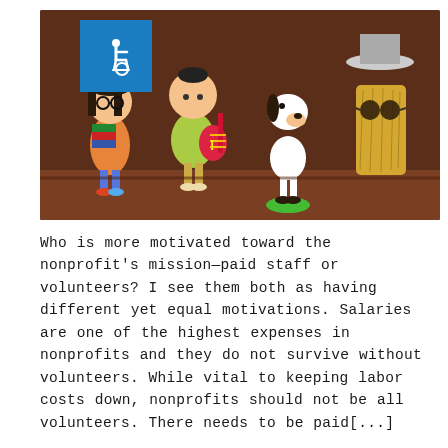[Figure (photo): Photo of four Peanuts character figurines (Marcy with glasses holding books, Schroeder/Charlie Brown with guitar, Snoopy dancing, and a hairy-looking character with sunglasses and a hat) on a reddish-brown surface. An accessibility wheelchair icon badge is overlaid in the top-left corner.]
Who is more motivated toward the nonprofit's mission—paid staff or volunteers? I see them both as having different yet equal motivations. Salaries are one of the highest expenses in nonprofits and they do not survive without volunteers. While vital to keeping labor costs down, nonprofits should not be all volunteers. There needs to be paid[...]